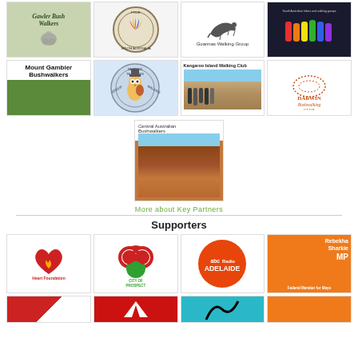[Figure (other): Grid of 8 walking club partner logos: Gawler Bush Walkers, Four Colours Walkers South Australia, Goannas Walking Group, colorful hikers group (South Australia), Mount Gambier Bushwalkers, Retired Teachers Walking Group, Kangaroo Island Walking Club, Darwin Bushwalking Club]
[Figure (photo): Central Australian Bushwalkers logo with aerial photo of desert mountain ranges]
More about Key Partners
Supporters
[Figure (other): Grid of supporter logos: Heart Foundation Walking, City of Prospect, ABC Radio Adelaide, Rebekha Sharkie MP Federal Member for Mayo, and partial logos of additional supporters]